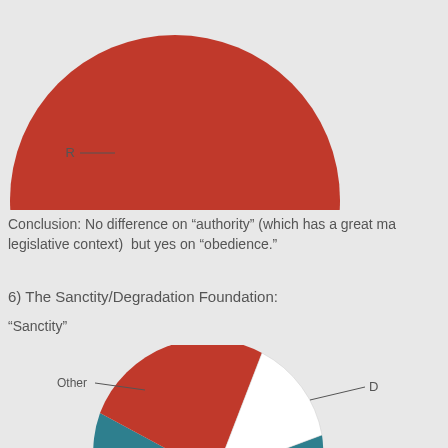[Figure (pie-chart): Partial pie chart showing R slice in dark red/brown, cropped at top of page]
Conclusion: No difference on "authority" (which has a great man legislative context) but yes on "obedience."
6) The Sanctity/Degradation Foundation:
"Sanctity"
[Figure (pie-chart): Pie chart showing three slices: D (teal/dark cyan, large), R (dark red/brown, medium), Other (small). Labels: D, R, Other with leader lines.]